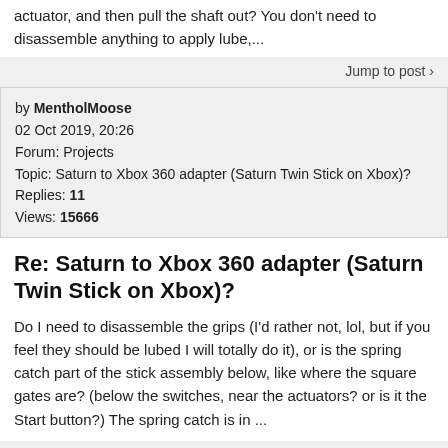actuator, and then pull the shaft out? You don't need to disassemble anything to apply lube,...
Jump to post >
by MentholMoose
02 Oct 2019, 20:26
Forum: Projects
Topic: Saturn to Xbox 360 adapter (Saturn Twin Stick on Xbox)?
Replies: 11
Views: 15666
Re: Saturn to Xbox 360 adapter (Saturn Twin Stick on Xbox)?
Do I need to disassemble the grips (I'd rather not, lol, but if you feel they should be lubed I will totally do it), or is the spring catch part of the stick assembly below, like where the square gates are? (below the switches, near the actuators? or is it the Start button?) The spring catch is in ...
Jump to post >
by MentholMoose
02 Oct 2019, 02:29
Forum: Projects